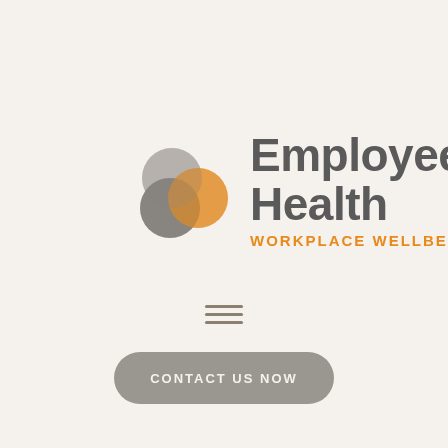[Figure (logo): Employees Health Workplace Wellbeing logo with three overlapping circles (grey, dark grey, orange) and text 'Employees Health' in bold dark grey and 'WORKPLACE WELLBEING' in orange]
[Figure (other): Hamburger menu icon with three horizontal lines]
CONTACT US NOW